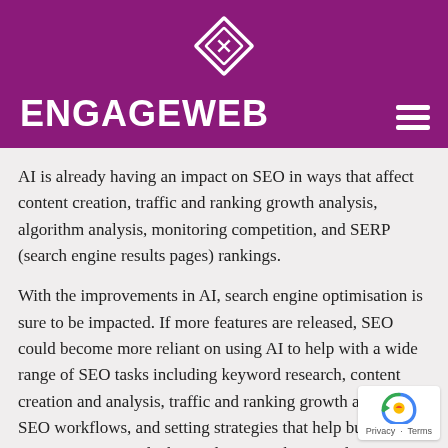ENGAGEWEB
AI is already having an impact on SEO in ways that affect content creation, traffic and ranking growth analysis, algorithm analysis, monitoring competition, and SERP (search engine results pages) rankings.
With the improvements in AI, search engine optimisation is sure to be impacted. If more features are released, SEO could become more reliant on using AI to help with a wide range of SEO tasks including keyword research, content creation and analysis, traffic and ranking growth analysis, SEO workflows, and setting strategies that help businesses get even more results by predicting rankings and competitor analysis.